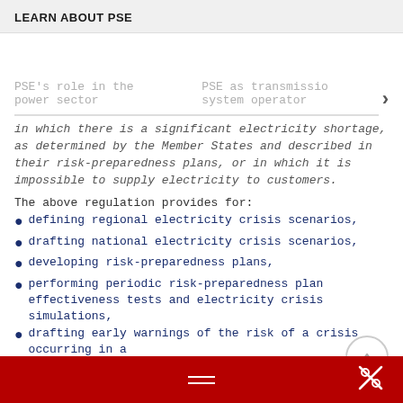LEARN ABOUT PSE
PSE's role in the power sector
PSE as transmission system operator
in which there is a significant electricity shortage, as determined by the Member States and described in their risk-preparedness plans, or in which it is impossible to supply electricity to customers.
The above regulation provides for:
defining regional electricity crisis scenarios,
drafting national electricity crisis scenarios,
developing risk-preparedness plans,
performing periodic risk-preparedness plan effectiveness tests and electricity crisis simulations,
drafting early warnings of the risk of a crisis occurring in a Member State and declaring an electricity crisis